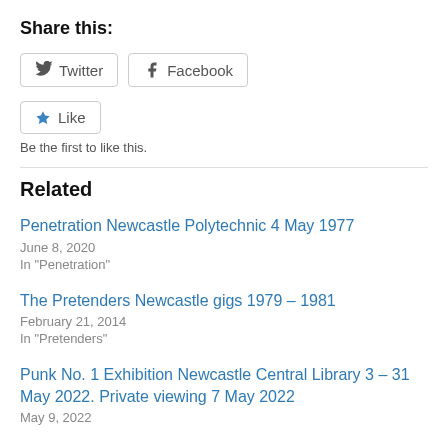Share this:
Twitter  Facebook
Like
Be the first to like this.
Related
Penetration Newcastle Polytechnic 4 May 1977
June 8, 2020
In "Penetration"
The Pretenders Newcastle gigs 1979 – 1981
February 21, 2014
In "Pretenders"
Punk No. 1 Exhibition Newcastle Central Library 3 – 31 May 2022. Private viewing 7 May 2022
May 9, 2022